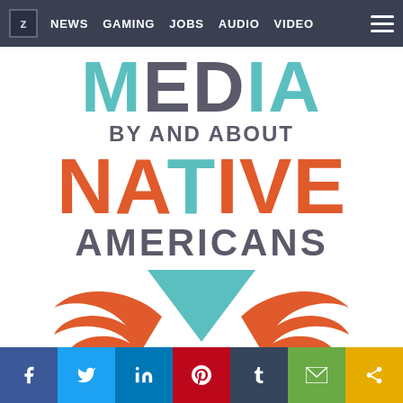NEWS  GAMING  JOBS  AUDIO  VIDEO
[Figure (illustration): Website screenshot showing a media brand page. Large bold text reads: MEDIA BY AND ABOUT NATIVE AMERICANS, with a logo below showing red wings and a teal downward-pointing triangle. Navigation bar at top with NEWS, GAMING, JOBS, AUDIO, VIDEO links. Social share bar at bottom with Facebook, Twitter, LinkedIn, Pinterest, Tumblr, Email, and Share buttons.]
Facebook  Twitter  LinkedIn  Pinterest  Tumblr  Email  Share